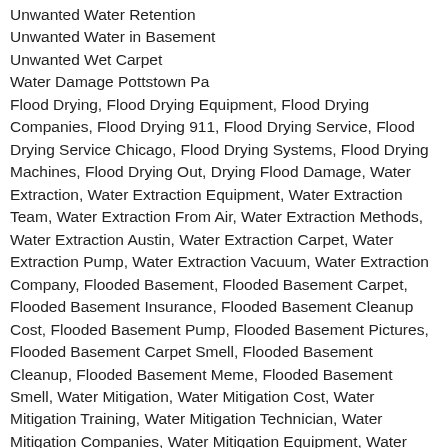Unwanted Water Retention
Unwanted Water in Basement
Unwanted Wet Carpet
Water Damage Pottstown Pa
Flood Drying, Flood Drying Equipment, Flood Drying Companies, Flood Drying 911, Flood Drying Service, Flood Drying Service Chicago, Flood Drying Systems, Flood Drying Machines, Flood Drying Out, Drying Flood Damage, Water Extraction, Water Extraction Equipment, Water Extraction Team, Water Extraction From Air, Water Extraction Methods, Water Extraction Austin, Water Extraction Carpet, Water Extraction Pump, Water Extraction Vacuum, Water Extraction Company, Flooded Basement, Flooded Basement Carpet, Flooded Basement Insurance, Flooded Basement Cleanup Cost, Flooded Basement Pump, Flooded Basement Pictures, Flooded Basement Carpet Smell, Flooded Basement Cleanup, Flooded Basement Meme, Flooded Basement Smell, Water Mitigation, Water Mitigation Cost, Water Mitigation Training, Water Mitigation Technician, Water Mitigation Companies, Water Mitigation Equipment, Water Mitigation Jobs, Water Mitigation , Water Mitigation Drying Log, Water Mitigation Software, Water Damaged, Water Damage , Water